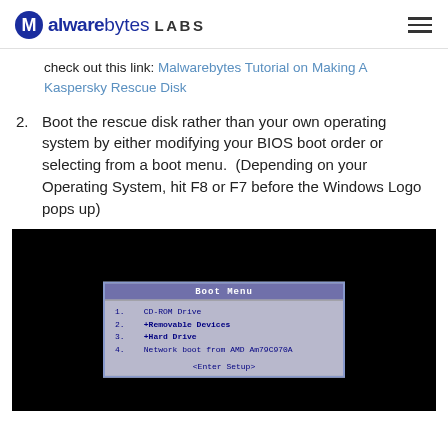Malwarebytes LABS
check out this link: Malwarebytes Tutorial on Making A Kaspersky Rescue Disk
2. Boot the rescue disk rather than your own operating system by either modifying your BIOS boot order or selecting from a boot menu. (Depending on your Operating System, hit F8 or F7 before the Windows Logo pops up)
[Figure (screenshot): BIOS Boot Menu screenshot showing options: 1. CD-ROM Drive, 2. +Removable Devices, 3. +Hard Drive, 4. Network boot from AMD Am79C970A, <Enter Setup>]